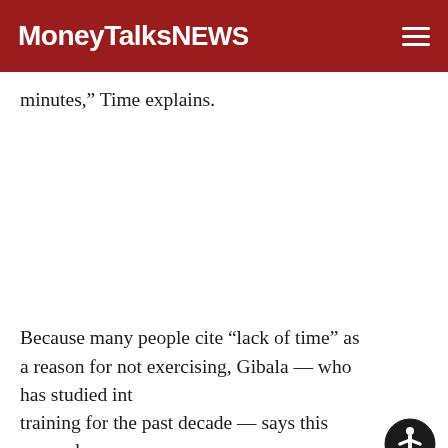MoneyTalksNews
minutes,” Time explains.
Because many people cite “lack of time” as a reason for not exercising, Gibala — who has studied int… training for the past decade — says this research